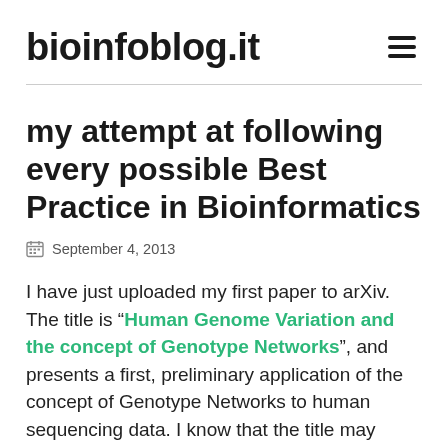bioinfoblog.it
my attempt at following every possible Best Practice in Bioinformatics
September 4, 2013
I have just uploaded my first paper to arXiv. The title is “Human Genome Variation and the concept of Genotype Networks”, and presents a first, preliminary application of the concept of Genotype Networks to human sequencing data. I know that the title may sound